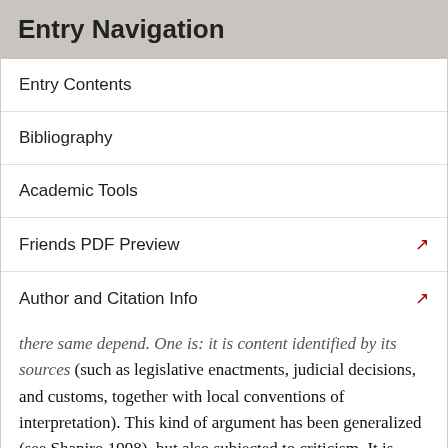Entry Navigation
Entry Contents
Bibliography
Academic Tools
Friends PDF Preview
Author and Citation Info
...there same depend. One is: it is content identified by its sources (such as legislative enactments, judicial decisions, and customs, together with local conventions of interpretation). This kind of argument has been generalized (see Shapiro 1998), but also subjected to criticism. It is uncertain what sort of constraint is posed by the idea that it should not involve “the very same issues”—perhaps if morality is a necessary condition only there could be moral tests for authority that leave the relevant dependent reasons untouched (Coleman 2001, 126–7). And while law does indeed serve as a scheme for guiding and appraising behaviour, it may also have other